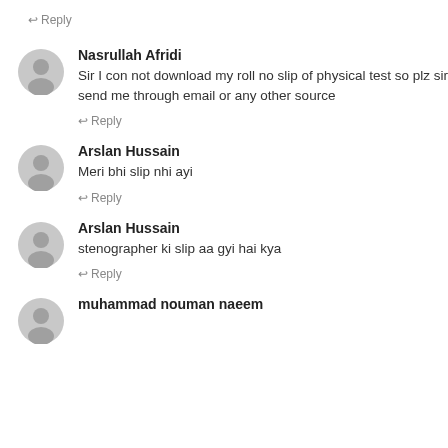↩ Reply
Nasrullah Afridi
Sir I con not download my roll no slip of physical test so plz sir send me through email or any other source
↩ Reply
Arslan Hussain
Meri bhi slip nhi ayi
↩ Reply
Arslan Hussain
stenographer ki slip aa gyi hai kya
↩ Reply
muhammad nouman naeem